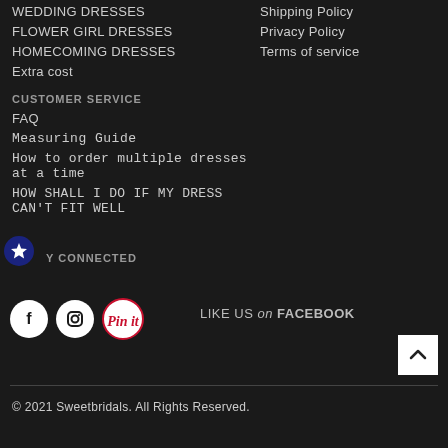WEDDING DRESSES
FLOWER GIRL DRESSES
HOMECOMING DRESSES
Extra cost
Shipping Policy
Privacy Policy
Terms of service
CUSTOMER SERVICE
FAQ
Measuring Guide
How to order multiple dresses at a time
HOW SHALL I DO IF MY DRESS CAN'T FIT WELL
STAY CONNECTED
LIKE US on FACEBOOK
© 2021 Sweetbridals. All Rights Reserved.